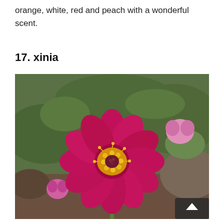orange, white, red and peach with a wonderful scent.
17. xinia
[Figure (photo): Close-up photograph of a bright red/magenta zinnia flower with yellow center stamens, on a green stem, with blurred garden background including green foliage and other flowers.]